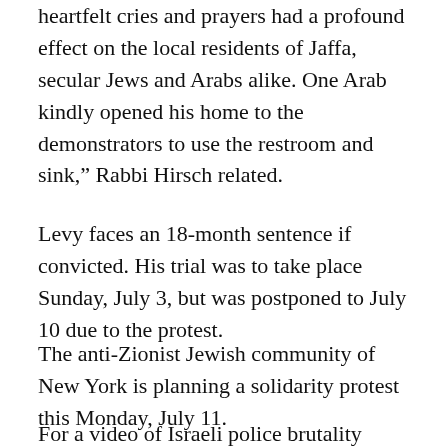heartfelt cries and prayers had a profound effect on the local residents of Jaffa, secular Jews and Arabs alike. One Arab kindly opened his home to the demonstrators to use the restroom and sink,” Rabbi Hirsch related.
Levy faces an 18-month sentence if convicted. His trial was to take place Sunday, July 3, but was postponed to July 10 due to the protest.
The anti-Zionist Jewish community of New York is planning a solidarity protest this Monday, July 11.
For a video of Israeli police brutality Sunday, July 3 click here: